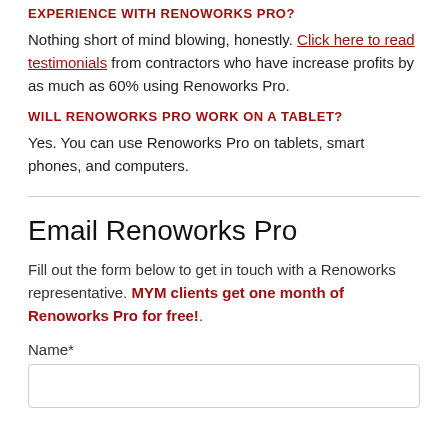EXPERIENCE WITH RENOWORKS PRO?
Nothing short of mind blowing, honestly. Click here to read testimonials from contractors who have increase profits by as much as 60% using Renoworks Pro.
WILL RENOWORKS PRO WORK ON A TABLET?
Yes. You can use Renoworks Pro on tablets, smart phones, and computers.
Email Renoworks Pro
Fill out the form below to get in touch with a Renoworks representative. MYM clients get one month of Renoworks Pro for free!.
Name*